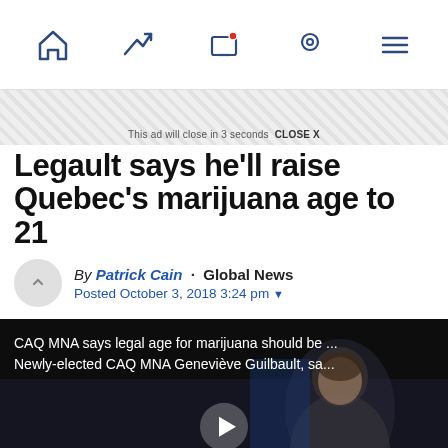Navigation bar with home, trending, screen/notification, location, and menu icons
This ad will close in 3 seconds  CLOSE X
Legault says he'll raise Quebec's marijuana age to 21
By Patrick Cain · Global News
Posted October 3, 2018 3:24 pm
[Figure (screenshot): Video thumbnail showing a woman speaking, with caption text: CAQ MNA says legal age for marijuana should be ... Newly-elected CAQ MNA Geneviève Guilbault, sa... and a play button overlay]